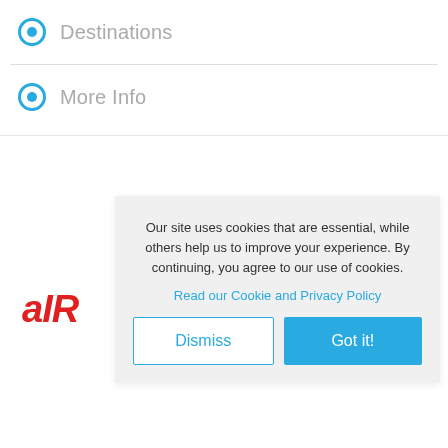Destinations
More Info
Our site uses cookies that are essential, while others help us to improve your experience. By continuing, you agree to our use of cookies.
Read our Cookie and Privacy Policy
Dismiss
Got it!
[Figure (logo): AIR logo in red italic bold text]